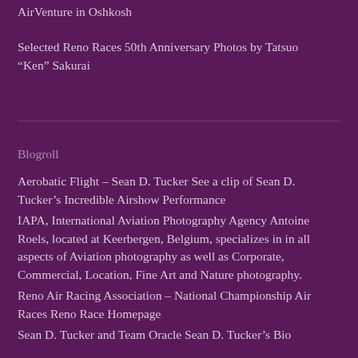AirVenture in Oshkosh
Selected Reno Races 50th Anniversary Photos by Tatsuo “Ken” Sakurai
Blogroll
Aerobatic Flight – Sean D. Tucker See a clip of Sean D. Tucker’s Incredible Airshow Performance
IAPA, International Aviation Photography Agency Antoine Roels, located at Keerbergen, Belgium, specializes in in all aspects of Aviation photography as well as Corporate, Commercial, Location, Fine Art and Nature photography.
Reno Air Racing Association – National Championship Air Races Reno Race Homepage
Sean D. Tucker and Team Oracle Sean D. Tucker’s Bio